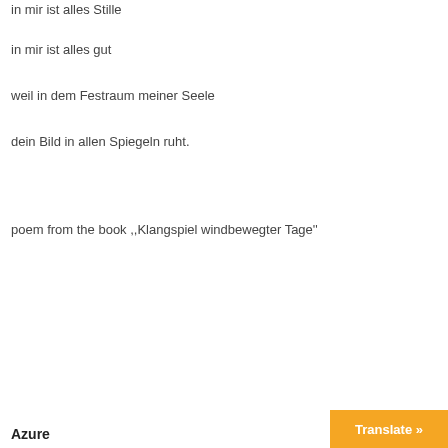in mir ist alles Stille
in mir ist alles gut
weil in dem Festraum meiner Seele
dein Bild in allen Spiegeln ruht.
poem from the book ,,Klangspiel windbewegter Tage''
Azure
Translate »